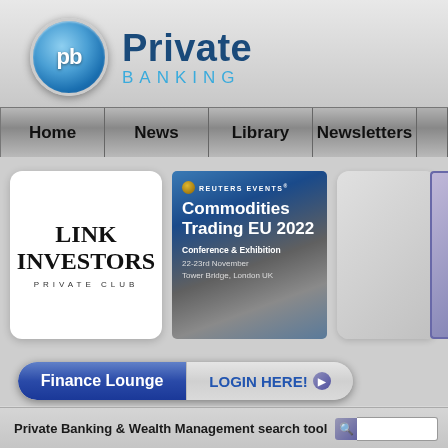[Figure (logo): Private Banking website logo with pb circle icon and 'Private BANKING' text]
[Figure (screenshot): Navigation bar with Home, News, Library, Newsletters menu items]
[Figure (logo): Link Investors Private Club logo card]
[Figure (screenshot): Reuters Events Commodities Trading EU 2022 Conference & Exhibition banner, 22-23rd November, Tower Bridge, London UK]
[Figure (screenshot): Gray placeholder banner card]
[Figure (screenshot): Partial purple-bordered card on right edge]
[Figure (infographic): Finance Lounge LOGIN HERE button]
Private Banking & Wealth Management search tool